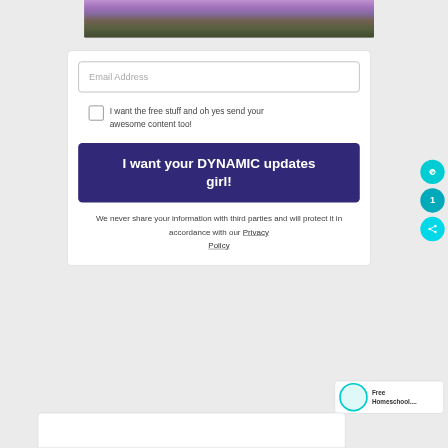[Figure (photo): Top portion of a photo showing purple lavender flowers against a blurred background]
Email Address
I want the free stuff and oh yes send your awesome content too!
I want your DYNAMIC updates girl!
We never share your information with third parties and will protect it in accordance with our Privacy Policy
[Figure (screenshot): Free Homeschool... widget with teal circular icon border in bottom right corner]